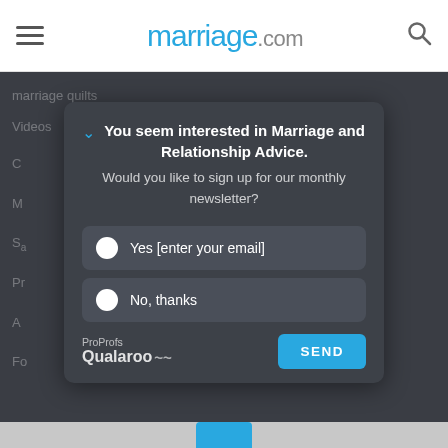marriage.com
Videos
[Figure (screenshot): Modal popup on marriage.com website asking user to sign up for monthly newsletter with Yes and No radio options and a SEND button, branded with ProProfs Qualaroo.]
You seem interested in Marriage and Relationship Advice.
Would you like to sign up for our monthly newsletter?
Yes [enter your email]
No, thanks
ProProfs Qualaroo
SEND